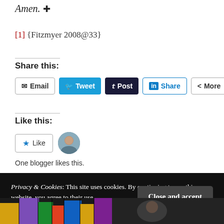Amen. ✠
[1] {Fitzmyer 2008@33}
Share this:
[Figure (screenshot): Social share buttons: Email, Tweet, Post, Share, More]
Like this:
[Figure (screenshot): Like button with star icon and one blogger avatar]
One blogger likes this.
Privacy & Cookies: This site uses cookies. By continuing to use this website, you agree to their use. To find out more, including how to control cookies, see here: Cookie Policy
[Figure (screenshot): Bottom image strip with colorful stained-glass and dark photo thumbnails]